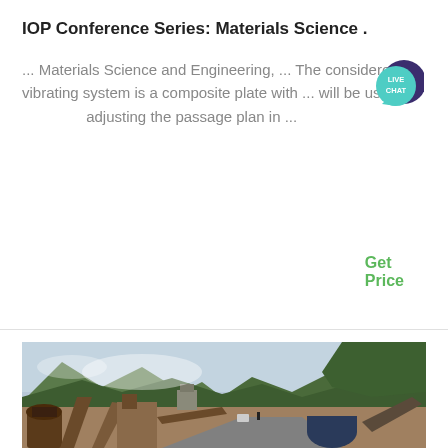IOP Conference Series: Materials Science .
... Materials Science and Engineering, ... The considered vibrating system is a composite plate with ... will be use adjusting the passage plan in ...
Get Price
[Figure (photo): Industrial quarry or mining site with conveyor belts, crushers, and heavy machinery set against a forested mountain backdrop with overcast sky]